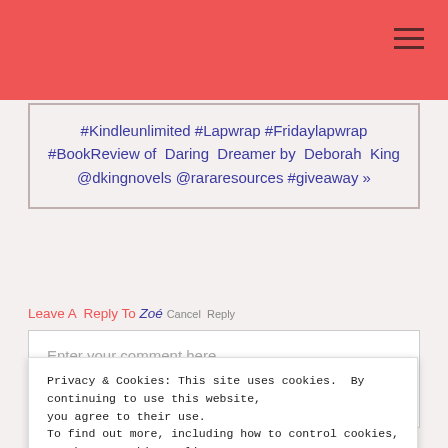#Kindleunlimited #Lapwrap #Fridaylapwrap #BookReview of Daring Dreamer by Deborah King @dkingnovels @rararesources #giveaway »
Leave A Reply To Zoé Cancel Reply
Enter your comment here...
Privacy & Cookies: This site uses cookies. By continuing to use this website, you agree to their use. To find out more, including how to control cookies, see here: Cookie Policy
Close and accept
all 2